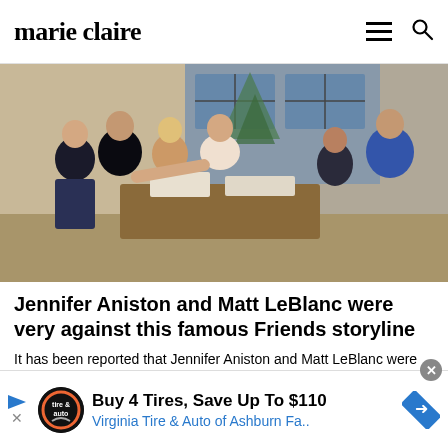marie claire
[Figure (photo): Cast of Friends TV show sitting around a coffee table in Central Perk/apartment set, Christmas tree visible in background. Six cast members visible, in casual clothing, appearing to exchange gifts or laugh.]
Jennifer Aniston and Matt LeBlanc were very against this famous Friends storyline
It has been reported that Jennifer Aniston and Matt LeBlanc were both against their most f...
Buy 4 Tires, Save Up To $110
Virginia Tire & Auto of Ashburn Fa..